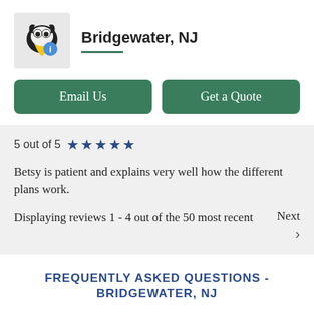Bridgewater, NJ
Email Us
Get a Quote
5 out of 5 ★★★★★
Betsy is patient and explains very well how the different plans work.
Displaying reviews 1 - 4 out of the 50 most recent
Next >
FREQUENTLY ASKED QUESTIONS -
BRIDGEWATER, NJ